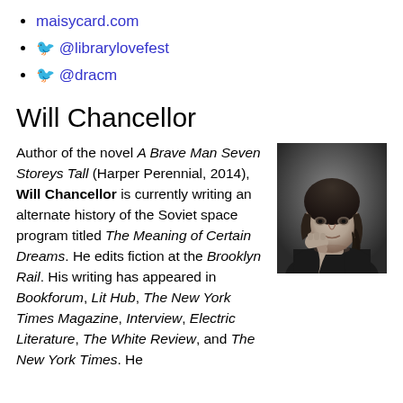maisycard.com
🐦 @librarylovefest
🐦 @dracm
Will Chancellor
Author of the novel A Brave Man Seven Storeys Tall (Harper Perennial, 2014), Will Chancellor is currently writing an alternate history of the Soviet space program titled The Meaning of Certain Dreams. He edits fiction at the Brooklyn Rail. His writing has appeared in Bookforum, Lit Hub, The New York Times Magazine, Interview, Electric Literature, The White Review, and The New York Times. He
[Figure (photo): Black and white portrait photo of Will Chancellor, a person with dark hair, shown from the shoulders up, resting chin/fist near face, looking at camera.]